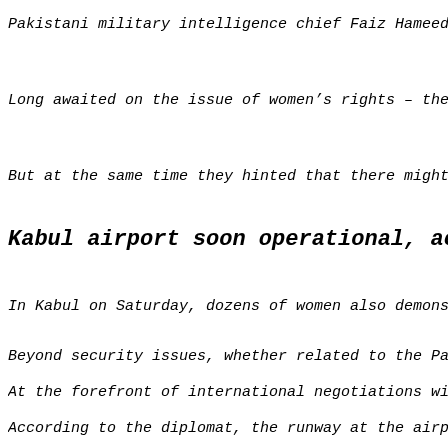Pakistani military intelligence chief Faiz Hameed was see
Long awaited on the issue of women's rights – the interna
But at the same time they hinted that there might be no r
Kabul airport soon operational, accor
In Kabul on Saturday, dozens of women also demonstrated r
Beyond security issues, whether related to the Panchir Va
At the forefront of international negotiations with the T
According to the diplomat, the runway at the airport in r